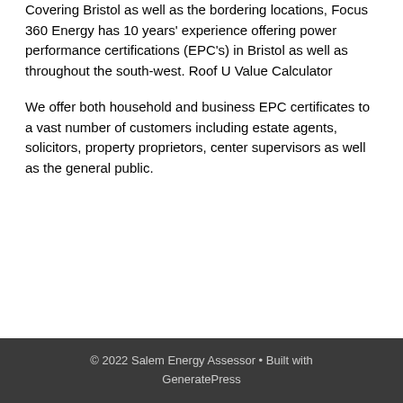Covering Bristol as well as the bordering locations, Focus 360 Energy has 10 years' experience offering power performance certifications (EPC's) in Bristol as well as throughout the south-west. Roof U Value Calculator
We offer both household and business EPC certificates to a vast number of customers including estate agents, solicitors, property proprietors, center supervisors as well as the general public.
© 2022 Salem Energy Assessor • Built with GeneratePress